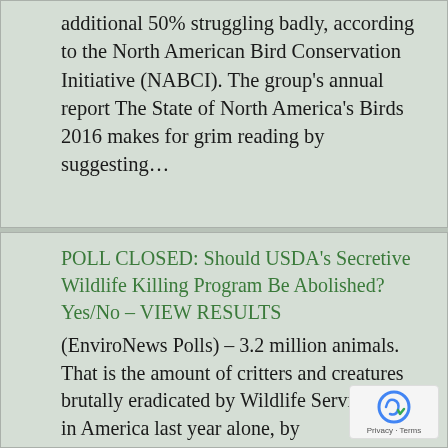additional 50% struggling badly, according to the North American Bird Conservation Initiative (NABCI). The group's annual report The State of North America's Birds 2016 makes for grim reading by suggesting...
POLL CLOSED: Should USDA's Secretive Wildlife Killing Program Be Abolished? Yes/No – VIEW RESULTS
(EnviroNews Polls) – 3.2 million animals. That is the amount of critters and creatures brutally eradicated by Wildlife Services (WS) in America last year alone, by